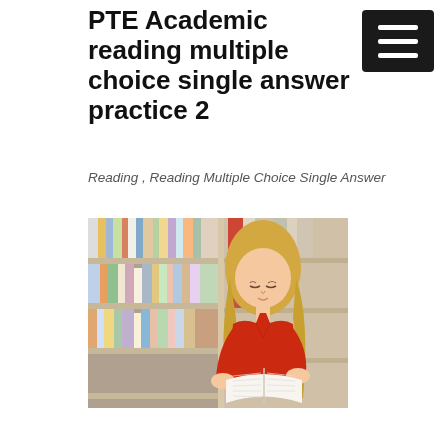PTE Academic reading multiple choice single answer practice 2
Reading , Reading Multiple Choice Single Answer
[Figure (photo): A young woman with long blonde hair wearing a red top stands in a library, reading an open book in front of bookshelves filled with colourful books.]